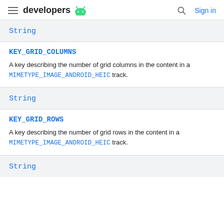developers (android logo) | search | Sign in
String
KEY_GRID_COLUMNS
A key describing the number of grid columns in the content in a MIMETYPE_IMAGE_ANDROID_HEIC track.
String
KEY_GRID_ROWS
A key describing the number of grid rows in the content in a MIMETYPE_IMAGE_ANDROID_HEIC track.
String